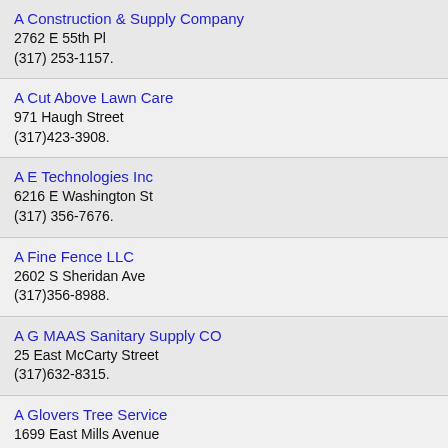A Construction & Supply Company
2762 E 55th Pl
(317) 253-1157.
A Cut Above Lawn Care
971 Haugh Street
(317)423-3908.
A E Technologies Inc
6216 E Washington St
(317) 356-7676.
A Fine Fence LLC
2602 S Sheridan Ave
(317)356-8988.
A G MAAS Sanitary Supply CO
25 East McCarty Street
(317)632-8315.
A Glovers Tree Service
1699 East Mills Avenue
(317)786-5493.
A Home Specialist